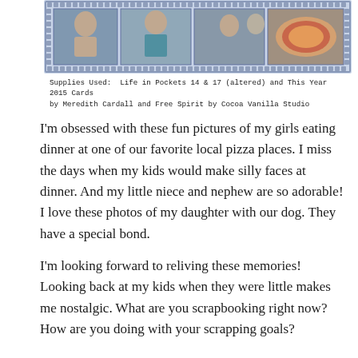[Figure (photo): Scrapbook layout showing photos of girls eating pizza at a restaurant, with decorative blue mosaic border and multiple photo slots]
Supplies Used:  Life in Pockets 14 & 17 (altered) and This Year 2015 Cards by Meredith Cardall and Free Spirit by Cocoa Vanilla Studio
I'm obsessed with these fun pictures of my girls eating dinner at one of our favorite local pizza places. I miss the days when my kids would make silly faces at dinner. And my little niece and nephew are so adorable! I love these photos of my daughter with our dog. They have a special bond.
I'm looking forward to reliving these memories! Looking back at my kids when they were little makes me nostalgic. What are you scrapbooking right now? How are you doing with your scrapping goals?